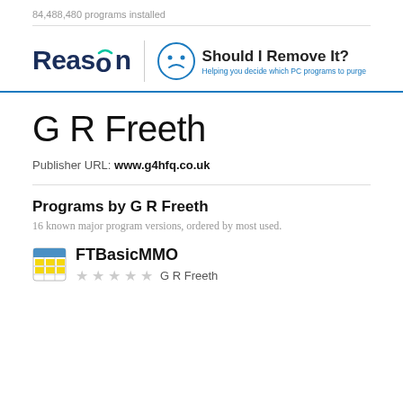84,488,480 programs installed
[Figure (logo): Reason | Should I Remove It? logo with tagline 'Helping you decide which PC programs to purge']
G R Freeth
Publisher URL: www.g4hfq.co.uk
Programs by G R Freeth
16 known major program versions, ordered by most used.
FTBasicMMO
G R Freeth